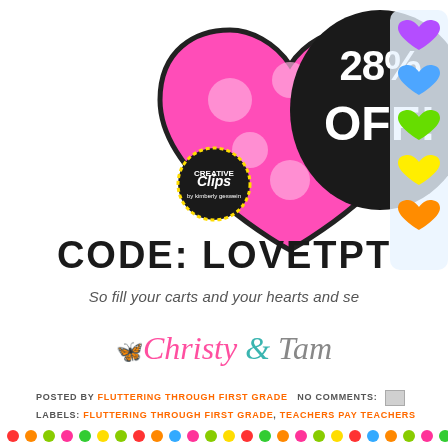[Figure (illustration): Colorful promotional image showing a pink polka-dot stitched heart, a black speech bubble with '28% OFF!' in white chalky text, a 'Creative Clips' logo badge, colorful rainbow hearts, and bold text 'CODE: LOVETPT' — a Teachers Pay Teachers sale promotion graphic.]
So fill your carts and your hearts and se
🦋 Christy & Tam
POSTED BY FLUTTERING THROUGH FIRST GRADE   NO COMMENTS:
LABELS: FLUTTERING THROUGH FIRST GRADE, TEACHERS PAY TEACHERS